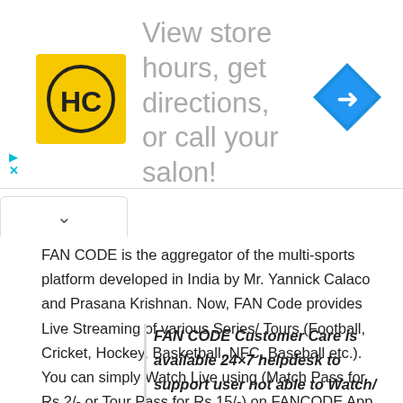[Figure (advertisement): Banner ad for a hair salon showing HC logo, text 'View store hours, get directions, or call your salon!' and a blue navigation icon]
FAN CODE is the aggregator of the multi-sports platform developed in India by Mr. Yannick Calaco and Prasana Krishnan. Now, FAN Code provides Live Streaming of various Series/ Tours (Football, Cricket, Hockey, Basketball, NFC, Baseball etc.). You can simply Watch Live using (Match Pass for Rs 2/- or Tour Pass for Rs 15/-) on FANCODE App, Website or Cast on TV/ Smart TV.
FAN CODE Customer Care is available 24×7 helpdesk to support user not able to Watch/ Stream Live Sports – IPL 2020,